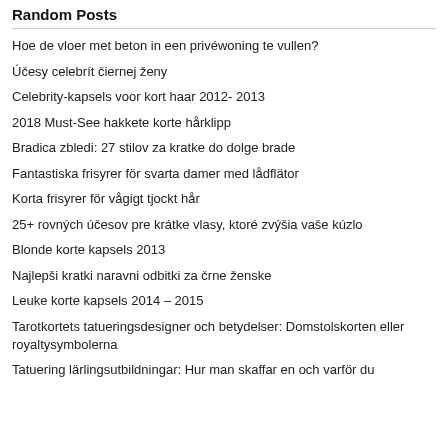Random Posts
Hoe de vloer met beton in een privéwoning te vullen?
Účesy celebrít čiernej ženy
Celebrity-kapsels voor kort haar 2012- 2013
2018 Must-See hakkete korte hårklipp
Bradica zbledi: 27 stilov za kratke do dolge brade
Fantastiska frisyrer för svarta damer med lådflätor
Korta frisyrer för vågigt tjockt hår
25+ rovných účesov pre krátke vlasy, ktoré zvýšia vaše kúzlo
Blonde korte kapsels 2013
Najlepši kratki naravni odbitki za črne ženske
Leuke korte kapsels 2014 – 2015
Tarotkortets tatueringsdesigner och betydelser: Domstolskorten eller royaltysymbolerna
Tatuering lärlingsutbildningar: Hur man skaffar en och varför du